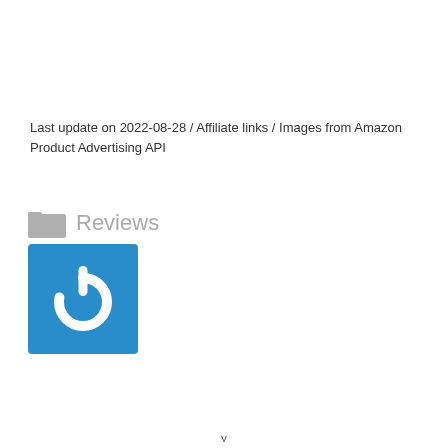Last update on 2022-08-28 / Affiliate links / Images from Amazon Product Advertising API
Reviews
[Figure (logo): Blue square icon with a white power button symbol (circle with a vertical line at top)]
v